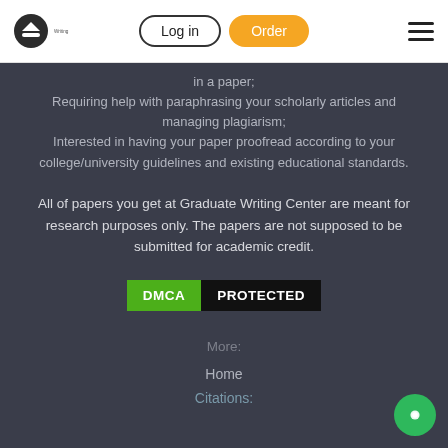[Figure (logo): Graduate Writing Center logo icon top left]
Log in
Order
in a paper;
Requiring help with paraphrasing your scholarly articles and managing plagiarism;
Interested in having your paper proofread according to your college/university guidelines and existing educational standards.
All of papers you get at Graduate Writing Center are meant for research purposes only. The papers are not supposed to be submitted for academic credit.
[Figure (logo): DMCA PROTECTED badge with green DMCA label and dark PROTECTED label]
More:
Home
Citations: